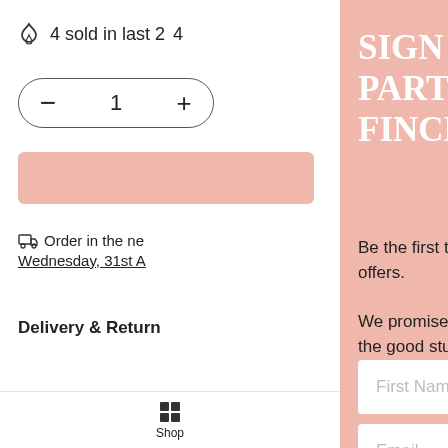4 sold in last 24
- 1 +
Order in the ne
Wednesday, 31st A
Delivery & Return
Description
Shop
SIGN UP TO BECOME A PART OF THE FAWN & FINCH FAMILY
Be the first to know about exclus offers.
We promise we'll only send you o the good stuff.
First Name
Email